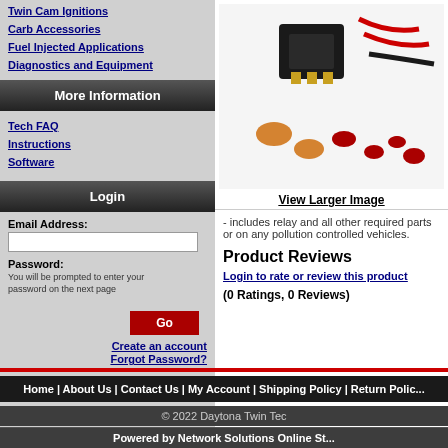Twin Cam Ignitions
Carb Accessories
Fuel Injected Applications
Diagnostics and Equipment
More Information
Tech FAQ
Instructions
Software
Login
Email Address:
Password: You will be prompted to enter your password on the next page
Go
Create an account
Forgot Password?
[Figure (photo): Photo of a relay kit with wiring harness and connectors including ring terminals and butt connectors]
View Larger Image
- includes relay and all other required parts or on any pollution controlled vehicles.
Product Reviews
Login to rate or review this product
(0 Ratings, 0 Reviews)
Home | About Us | Contact Us | My Account | Shipping Policy | Return Polic...
© 2022 Daytona Twin Tec
Powered by Network Solutions Online St...